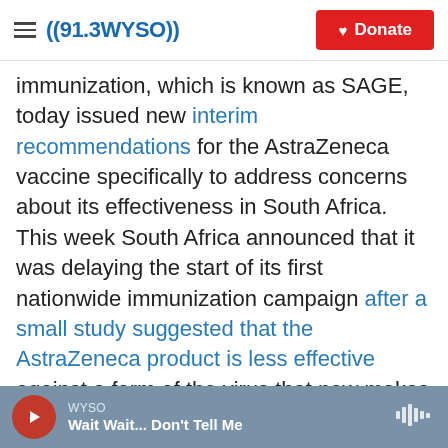((91.3 WYSO)) | Donate
immunization, which is known as SAGE, today issued new interim recommendations for the AstraZeneca vaccine specifically to address concerns about its effectiveness in South Africa. This week South Africa announced that it was delaying the start of its first nationwide immunization campaign after a small study suggested that the AstraZeneca product is less effective against a form of the virus that now makes up nearly 90% of all cases in South Africa.
"We don't want to end up with a situation in which we vaccinate a million or 2 million people with a
WYSO | Wait Wait... Don't Tell Me